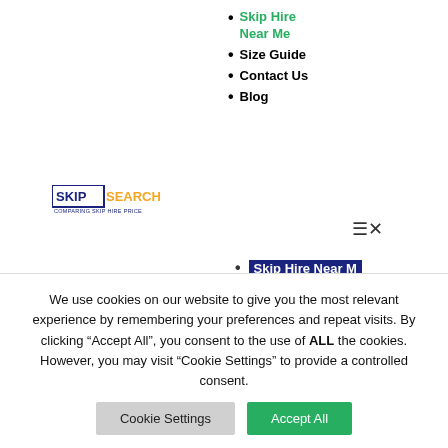Skip Hire Near Me
Size Guide
Contact Us
Blog
[Figure (logo): SkipSearch logo with blue border around SKIP and orange SEARCH text, with tagline below]
Skip Hire Near Me (highlighted/active)
Size Guide
Contact Us
Blog
| Cookie | Duration | Description |
| --- | --- | --- |
| cookielawinfo-checkbox-necessary | 11 months | This cookie is set by GDPR Cookie Consent plugin. The cookies is used to store the user consent for the cookies |
We use cookies on our website to give you the most relevant experience by remembering your preferences and repeat visits. By clicking "Accept All", you consent to the use of ALL the cookies. However, you may visit "Cookie Settings" to provide a controlled consent.